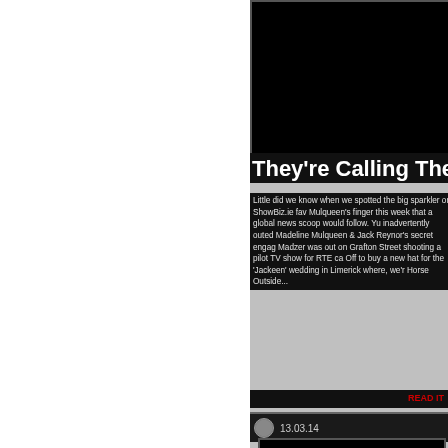[Figure (photo): Black image block at top of article]
They're Calling Them Jacke
Little did we know when we spotted the big sparkler on ShowBiz.ie fav Mulqueen's finger this week that a global news scoop would follow. Yu inadvertently outed Madeline Mulqueen & Jack Reynor's secret engag Madzer was out on Grafton Street shooting a pilot TV show for RTE ca Off to buy a new hat for the 'Jackeen' wedding in Limerick where, we'r Horse Outside...
READ IT
13.03.14
[Figure (photo): Black image block for second article]